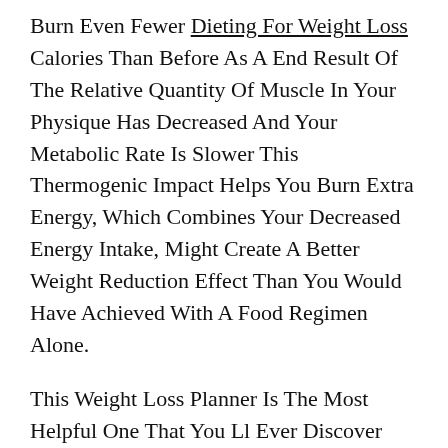Burn Even Fewer Dieting For Weight Loss Calories Than Before As A End Result Of The Relative Quantity Of Muscle In Your Physique Has Decreased And Your Metabolic Rate Is Slower This Thermogenic Impact Helps You Burn Extra Energy, Which Combines Your Decreased Energy Intake, Might Create A Better Weight Reduction Effect Than You Would Have Achieved With A Food Regimen Alone.
This Weight Loss Planner Is The Most Helpful One That You Ll Ever Discover However, It S Also Quite Simple To Use And Is Not Complicated At All Without This Weight Loss Calculator, You Will Have No Idea Of Where To Begin And How A Lot Calories You Want To Reduce To Find A Way To Reach Or Hit A Healthy Stage 7 Day Diet Plan For Weight Loss Of Weight Sometimes, It S That You Simply Would Possibly Feel The Necessity To Shed Weight